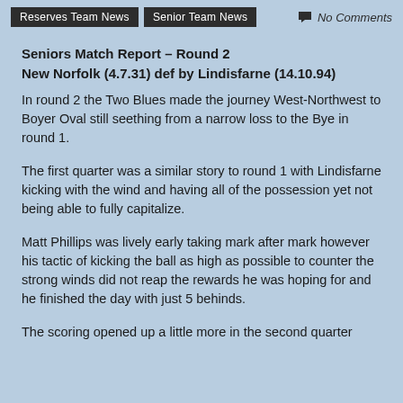Reserves Team News | Senior Team News | No Comments
Seniors Match Report – Round 2
New Norfolk (4.7.31) def by Lindisfarne (14.10.94)
In round 2 the Two Blues made the journey West-Northwest to Boyer Oval still seething from a narrow loss to the Bye in round 1.
The first quarter was a similar story to round 1 with Lindisfarne kicking with the wind and having all of the possession yet not being able to fully capitalize.
Matt Phillips was lively early taking mark after mark however his tactic of kicking the ball as high as possible to counter the strong winds did not reap the rewards he was hoping for and he finished the day with just 5 behinds.
The scoring opened up a little more in the second quarter